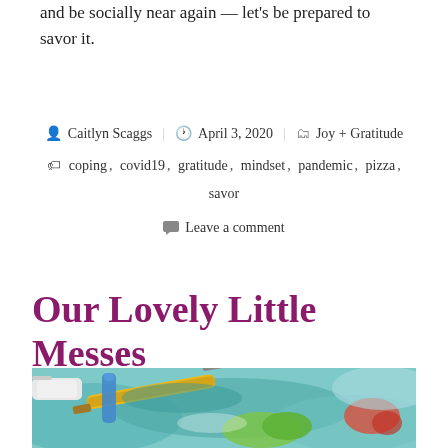and be socially near again — let's be prepared to savor it.
By Caitlyn Scaggs  April 3, 2020  Joy + Gratitude  Tags: coping, covid19, gratitude, mindset, pandemic, pizza, savor  Leave a comment
Our Lovely Little Messes
[Figure (photo): Close-up photo of colorful art supplies including paint brushes with a yellow handle, tubes of paint, and smeared paint in teal, green, red and other colors on a surface.]